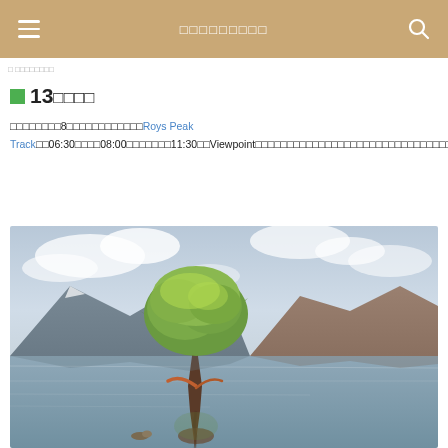ααααααααα
■ 13αααα
αααααααα8ααααααααααααRoys Peak Trackαα06:30αααα08:00αααααααα11:30ααViewpointαααααααααααααααααααααααααααααααααααααααααααααααααααα
[Figure (photo): A lone willow tree standing partially submerged in a calm lake with mountains and cloudy sky in the background — the Wanaka tree, New Zealand]